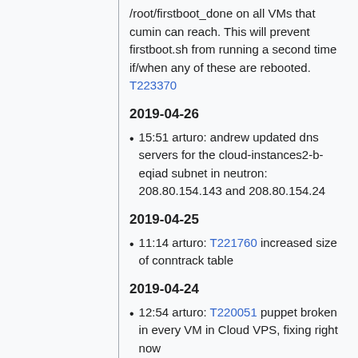/root/firstboot_done on all VMs that cumin can reach. This will prevent firstboot.sh from running a second time if/when any of these are rebooted. T223370
2019-04-26
15:51 arturo: andrew updated dns servers for the cloud-instances2-b-eqiad subnet in neutron: 208.80.154.143 and 208.80.154.24
2019-04-25
11:14 arturo: T221760 increased size of conntrack table
2019-04-24
12:54 arturo: T220051 puppet broken in every VM in Cloud VPS, fixing right now